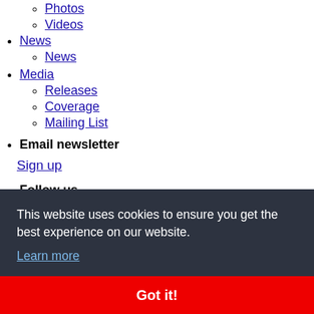Photos
Videos
News
News
Media
Releases
Coverage
Mailing List
Email newsletter
Sign up
Follow us
This website uses cookies to ensure you get the best experience on our website.
Learn more
Got it!